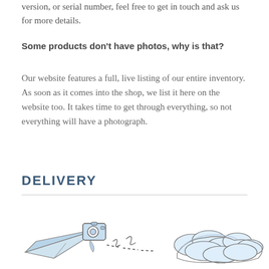version, or serial number, feel free to get in touch and ask us for more details.
Some products don't have photos, why is that?
Our website features a full, live listing of our entire inventory. As soon as it comes into the shop, we list it here on the website too. It takes time to get through everything, so not everything will have a photograph.
DELIVERY
[Figure (illustration): A hand-drawn illustration of a paper airplane with a camera, followed by dashed motion lines leading to fluffy clouds, suggesting delivery by air.]